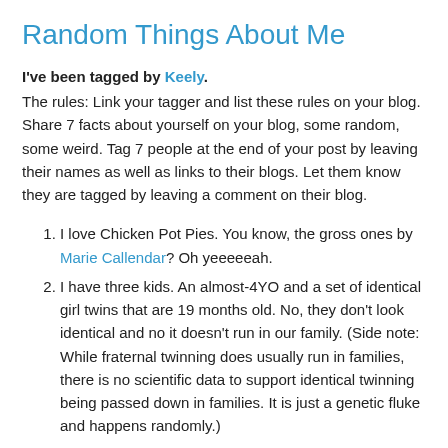Random Things About Me
I've been tagged by Keely.
The rules: Link your tagger and list these rules on your blog. Share 7 facts about yourself on your blog, some random, some weird. Tag 7 people at the end of your post by leaving their names as well as links to their blogs. Let them know they are tagged by leaving a comment on their blog.
I love Chicken Pot Pies. You know, the gross ones by Marie Callendar? Oh yeeeeeah.
I have three kids. An almost-4YO and a set of identical girl twins that are 19 months old. No, they don't look identical and no it doesn't run in our family. (Side note: While fraternal twinning does usually run in families, there is no scientific data to support identical twinning being passed down in families. It is just a genetic fluke and happens randomly.)
I was an aquatic entomological taxonomist before I became a 7th grade teacher. Teaching 7th graders is